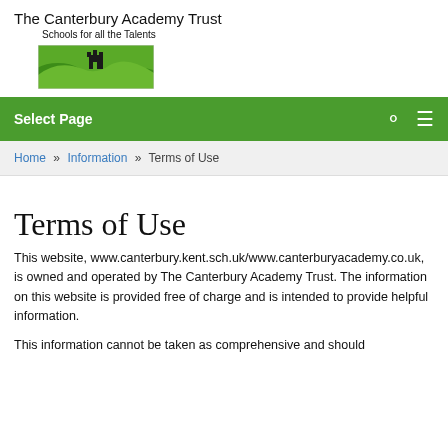[Figure (logo): The Canterbury Academy Trust logo with text 'The Canterbury Academy Trust', tagline 'Schools for all the Talents', and a green landscape graphic with a castle silhouette]
Select Page
Home » Information » Terms of Use
Terms of Use
This website, www.canterbury.kent.sch.uk/www.canterburyacademy.co.uk, is owned and operated by The Canterbury Academy Trust. The information on this website is provided free of charge and is intended to provide helpful information.
This information cannot be taken as comprehensive and should